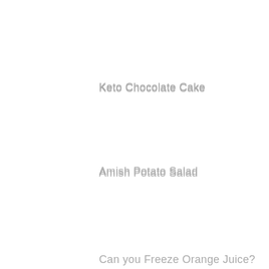Keto Chocolate Cake
Amish Potato Salad
Can you Freeze Orange Juice?
The Scrumptious Potato Casserole Recipe